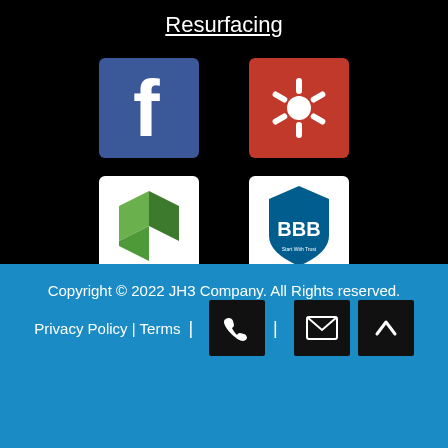Resurfacing
[Figure (logo): Facebook logo - blue background with white 'f' icon]
[Figure (logo): Yelp logo - red background with white Yelp burst icon]
[Figure (logo): Houzz-style logo - white background with green angular icon]
[Figure (logo): BBB (Better Business Bureau) logo - white background with BBB blue shield icon]
[Figure (logo): Chat/messaging app logo - green background with white speech bubble icon]
Copyright © 2022 JH3 Company. All Rights reserved.
Privacy Policy | Terms